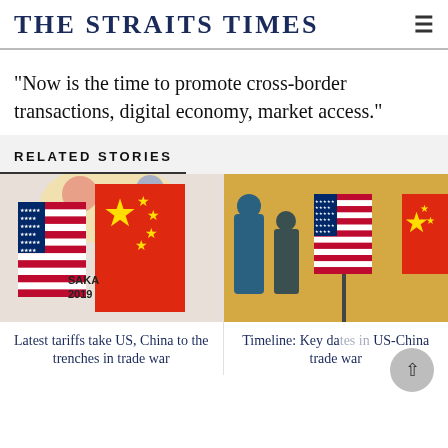THE STRAITS TIMES
"Now is the time to promote cross-border transactions, digital economy, market access."
RELATED STORIES
[Figure (photo): US and China flags side by side at OSAKA 2019 G20 summit with confetti]
Latest tariffs take US, China to the trenches in trade war
[Figure (photo): US and China flags displayed indoors with people in background]
Timeline: Key dates in US-China trade war